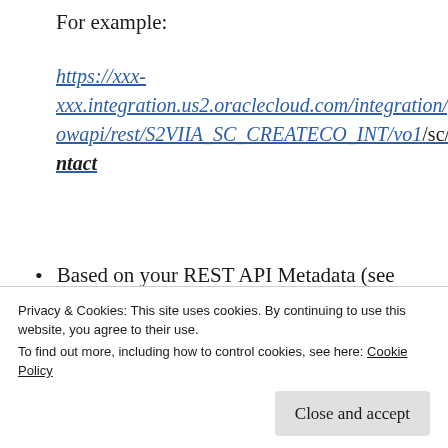For example:
https://xxx-xxx.integration.us2.oraclecloud.com/integration/flowapi/rest/S2VIIA_SC_CREATECO_INT/vo1/sc/contact
Based on your REST API Metadata (see below), add the body of the request that contains the structure defined in your REST API Request configuration. As we did with
Privacy & Cookies: This site uses cookies. By continuing to use this website, you agree to their use.
To find out more, including how to control cookies, see here: Cookie Policy
Close and accept
Request